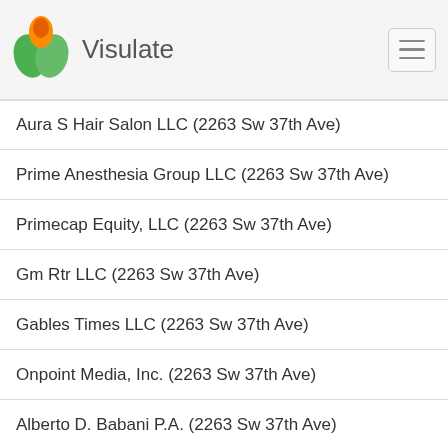Visulate
Aura S Hair Salon LLC (2263 Sw 37th Ave)
Prime Anesthesia Group LLC (2263 Sw 37th Ave)
Primecap Equity, LLC (2263 Sw 37th Ave)
Gm Rtr LLC (2263 Sw 37th Ave)
Gables Times LLC (2263 Sw 37th Ave)
Onpoint Media, Inc. (2263 Sw 37th Ave)
Alberto D. Babani P.A. (2263 Sw 37th Ave)
Jusely B Hair & Makeup Inc. (2263 Sw 37th Ave)
Lasheshair Glamour Corp (2263 Sw 37th Ave)
Smart Care Janitorial, Inc (2263 Sw 37th Ave)